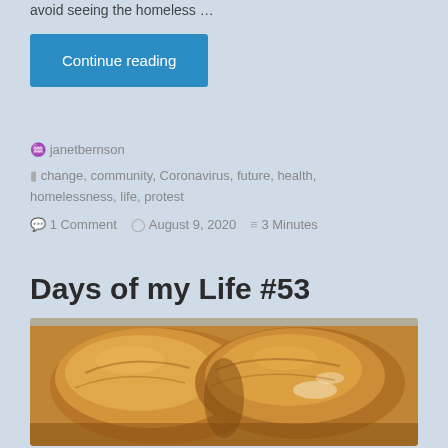avoid seeing the homeless …
Continue reading
janetbernson
change, community, Coronavirus, future, health, homelessness, life, protest
1 Comment   August 9, 2020   3 Minutes
Days of my Life #53
[Figure (photo): Close-up photo of freshly baked bread rolls with golden-brown crust, showing two large rolls side by side with flour dusting.]